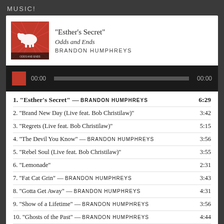MUSIC!
[Figure (illustration): Album art thumbnail showing a red background with radiating lines and a white bison silhouette]
"Esther's Secret"
Odds and Ends
BRANDON HUMPHREYS
00:00  00:00
1. "Esther's Secret" — BRANDON HUMPHREYS  6:29
2. "Brand New Day (Live feat. Bob Christilaw)"  3:42
3. "Regrets (Live feat. Bob Christilaw)"  5:15
4. "The Devil You Know" — BRANDON HUMPHREYS  3:56
5. "Rebel Soul (Live feat. Bob Christilaw)"  3:55
6. "Lemonade"  2:31
7. "Fat Cat Grin" — BRANDON HUMPHREYS  3:43
8. "Gotta Get Away" — BRANDON HUMPHREYS  4:31
9. "Show of a Lifetime" — BRANDON HUMPHREYS  3:56
10. "Ghosts of the Past" — BRANDON HUMPHREYS  4:44
11. "When I Get the Blues" — BRANDON HUMPHREYS  4:59